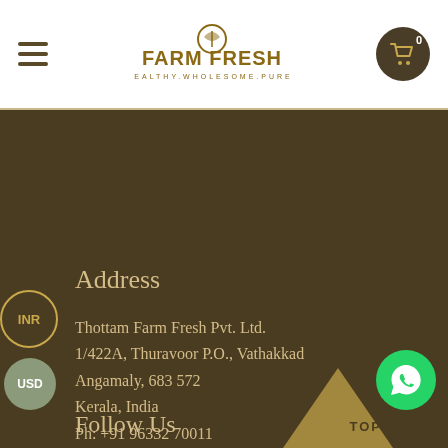Thottam Farm Fresh — HEALTHY. WHOLESOME. PURE.
Address
Thottam Farm Fresh Pvt. Ltd.
1/422A, Thuravoor P.O., Vathakkad
Angamaly, 683 572
Kerala, India
Ph: +91 96332 70011
E: care@thottamfarmfresh.com
Follow Us